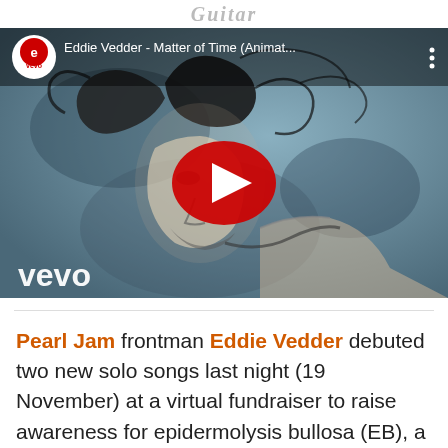Guitar
[Figure (screenshot): YouTube video thumbnail showing Eddie Vedder - Matter of Time (Animat... with Vevo logo, play button, and illustrated artwork of a person with flowing hair]
Pearl Jam frontman Eddie Vedder debuted two new solo songs last night (19 November) at a virtual fundraiser to raise awareness for epidermolysis bullosa (EB), a rare skin condition